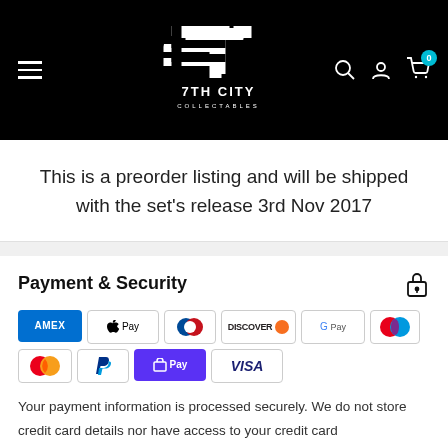7TH CITY COLLECTABLES navigation header
This is a preorder listing and will be shipped with the set's release 3rd Nov 2017
Payment & Security
[Figure (logo): Payment method badges: AMEX, Apple Pay, Diners, Discover, Google Pay, Maestro, Mastercard, PayPal, Shop Pay, Visa]
Your payment information is processed securely. We do not store credit card details nor have access to your credit card